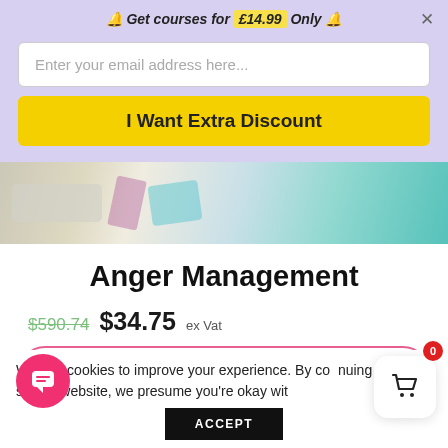🔔 Get courses for £14.99 Only 🔔
[Figure (screenshot): Email input field with placeholder text 'Enter your email address here...']
I Want Extra Discount
[Figure (photo): Hero image showing a desk with keyboard and colorful scattered papers/clothes]
Anger Management
$590.74 $34.75 ex Vat
TAKE THIS COURSE
We use cookies to improve your experience. By continuing to use this website, we presume you're okay with
ACCEPT